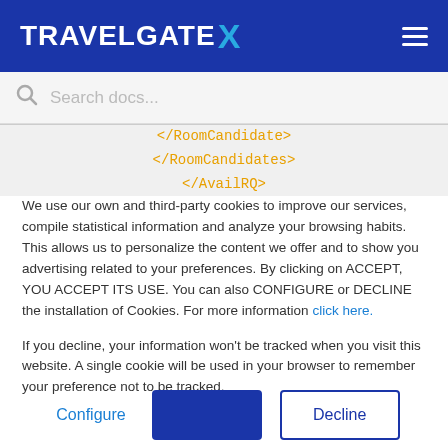TRAVELGATE X
[Figure (screenshot): Search bar with placeholder text 'Search docs...']
</RoomCandidate>
</RoomCandidates>
</AvailRQ>
We use our own and third-party cookies to improve our services, compile statistical information and analyze your browsing habits. This allows us to personalize the content we offer and to show you advertising related to your preferences. By clicking on ACCEPT, YOU ACCEPT ITS USE. You can also CONFIGURE or DECLINE the installation of Cookies. For more information click here.
If you decline, your information won't be tracked when you visit this website. A single cookie will be used in your browser to remember your preference not to be tracked.
Configure | ACCEPT | Decline